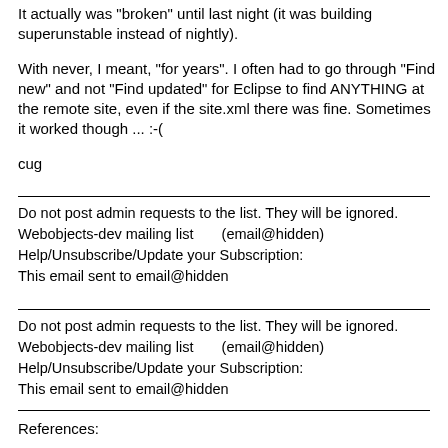It actually was "broken" until last night (it was building superunstable instead of nightly).
With never, I meant, "for years". I often had to go through "Find new" and not "Find updated" for Eclipse to find ANYTHING at the remote site, even if the site.xml there was fine. Sometimes it worked though ... :-(
cug
Do not post admin requests to the list. They will be ignored.
Webobjects-dev mailing list      (email@hidden)
Help/Unsubscribe/Update your Subscription:
This email sent to email@hidden
Do not post admin requests to the list. They will be ignored.
Webobjects-dev mailing list      (email@hidden)
Help/Unsubscribe/Update your Subscription:
This email sent to email@hidden
References: